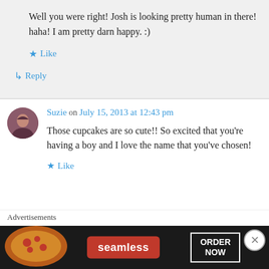Well you were right! Josh is looking pretty human in there! haha! I am pretty darn happy. :)
Like
Reply
Suzie on July 15, 2013 at 12:43 pm
Those cupcakes are so cute!! So excited that you're having a boy and I love the name that you've chosen!
Like
Advertisements